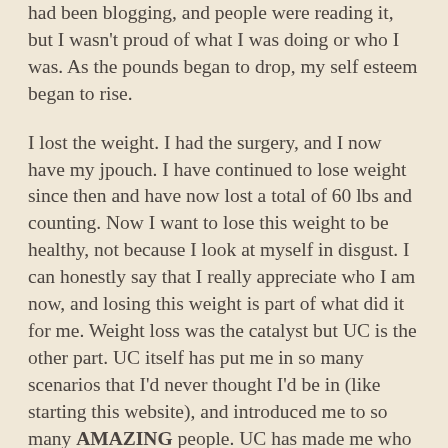had been blogging, and people were reading it, but I wasn't proud of what I was doing or who I was. As the pounds began to drop, my self esteem began to rise.
I lost the weight. I had the surgery, and I now have my jpouch. I have continued to lose weight since then and have now lost a total of 60 lbs and counting. Now I want to lose this weight to be healthy, not because I look at myself in disgust. I can honestly say that I really appreciate who I am now, and losing this weight is part of what did it for me. Weight loss was the catalyst but UC is the other part. UC itself has put me in so many scenarios that I'd never thought I'd be in (like starting this website), and introduced me to so many AMAZING people. UC has made me who I am right now, and I am thankful for it.